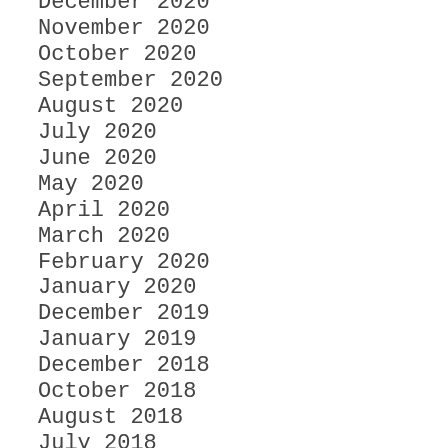December 2020
November 2020
October 2020
September 2020
August 2020
July 2020
June 2020
May 2020
April 2020
March 2020
February 2020
January 2020
December 2019
January 2019
December 2018
October 2018
August 2018
July 2018
June 2018